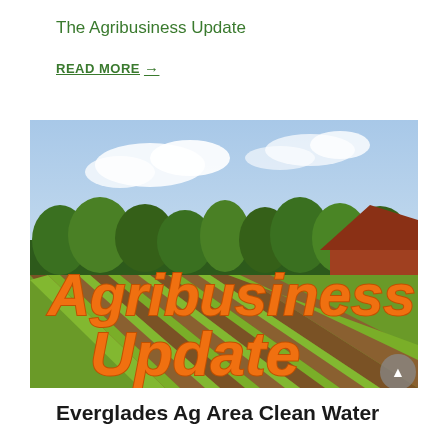The Agribusiness Update
READ MORE →
[Figure (photo): Agricultural field with rows of crops and green trees in background under a partly cloudy sky. Large orange bold italic text overlay reads 'Agribusiness Update'.]
Everglades Ag Area Clean Water